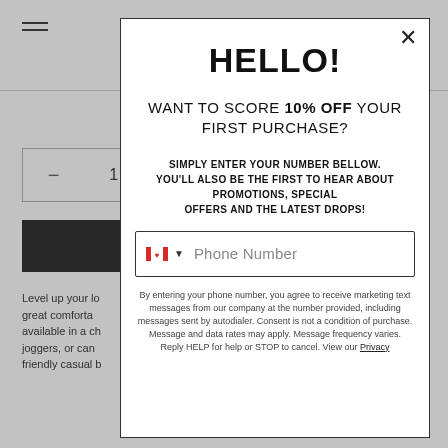[Figure (screenshot): Background e-commerce page showing hamburger menu, quantity selector with minus and 1, black add-to-cart button, product description text, and materials/bullet list, partially obscured by modal overlay]
HELLO!
WANT TO SCORE 10% OFF YOUR FIRST PURCHASE?
SIMPLY ENTER YOUR NUMBER BELLOW. YOU'LL ALSO BE THE FIRST TO HEAR ABOUT PROMOTIONS, SPECIAL OFFERS AND THE LATEST DROPS!
Phone Number
By entering your phone number, you agree to receive marketing text messages from our company at the number provided, including messages sent by autodialer. Consent is not a condition of purchase. Message and data rates may apply. Message frequency varies. Reply HELP for help or STOP to cancel. View our Privacy